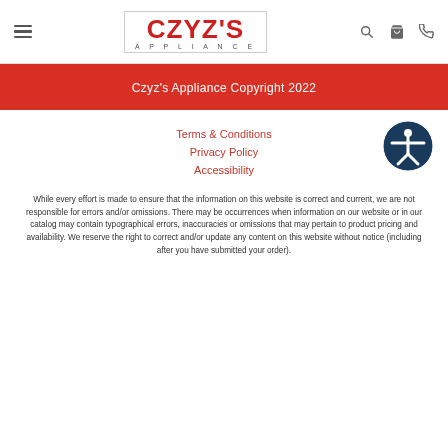[Figure (logo): Czyz's Appliance logo — red bold text CZYZ'S above smaller spaced APPLIANCE text, inside a thin border rectangle]
Czyz's Appliance Copyright 2022
Terms & Conditions
Privacy Policy
Accessibility
[Figure (illustration): Circular dark blue accessibility icon with white figure of a person with arms outstretched inside a circle]
While every effort is made to ensure that the information on this website is correct and current, we are not responsible for errors and/or omissions. There may be occurrences when information on our website or in our catalog may contain typographical errors, inaccuracies or omissions that may pertain to product pricing and availability. We reserve the right to correct and/or update any content on this website without notice (including after you have submitted your order).